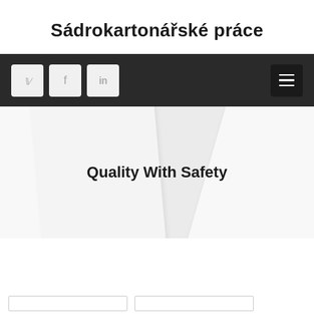Sádrokartonářské práce
[Figure (screenshot): Dark navigation bar with social media icon buttons (Twitter, Facebook, LinkedIn) on the left and a hamburger menu button on the right]
[Figure (screenshot): Hero section with light grey background, diagonal white paper/card shapes, and bold text 'Quality With Safety' in the center]
[Figure (screenshot): Bottom portion showing white area and partial form fields at the very bottom edge]